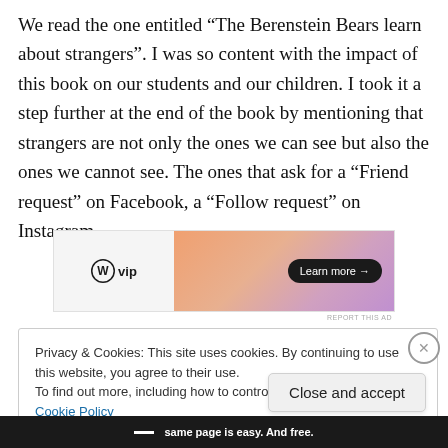We read the one entitled “The Berenstein Bears learn about strangers”. I was so content with the impact of this book on our students and our children. I took it a step further at the end of the book by mentioning that strangers are not only the ones we can see but also the ones we cannot see. The ones that ask for a “Friend request” on Facebook, a “Follow request” on Instagram.
[Figure (screenshot): WordPress VIP advertisement banner with logo on left and gradient orange-pink background on right with 'Learn more →' button]
Privacy & Cookies: This site uses cookies. By continuing to use this website, you agree to their use.
To find out more, including how to control cookies, see here: Cookie Policy
same page is easy. And free.